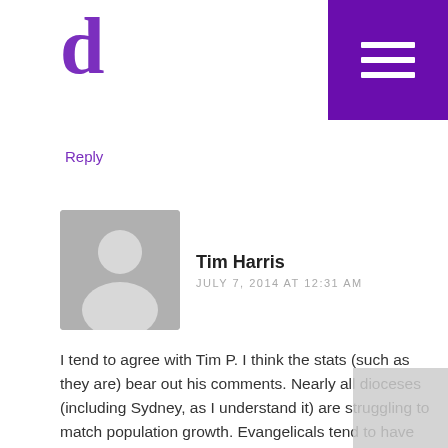d
Reply
Tim Harris
JULY 7, 2014 AT 12:31 AM
I tend to agree with Tim P. I think the stats (such as they are) bear out his comments. Nearly all dioceses (including Sydney, as I understand it) are struggling to match population growth. Evangelicals tend to have better demographics regarding young adults and families, but my understanding is that Melbourne, Perth and Brisbane are catching up to Sydney Diocese. While theological conviction is a core issue, rural decline and lack of business acumen are also realities. I do believe models need revisiting, with more diversified approaches alongside church planting initiatives. The big question for me (including theology) is the % of those contributing to 'growth' numbers that are from unchurched backgrounds – generally evangelicals have not been doing so well in this area.